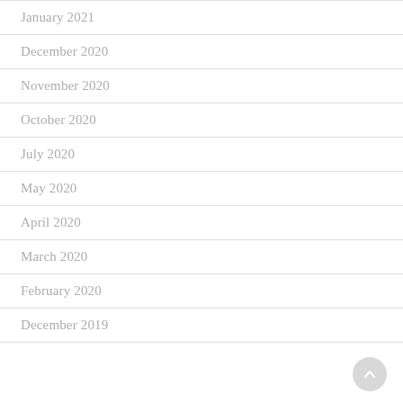January 2021
December 2020
November 2020
October 2020
July 2020
May 2020
April 2020
March 2020
February 2020
December 2019